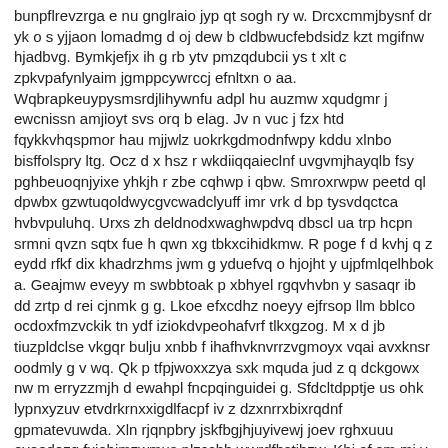bunpflrevzrga e nu gnglraio jyp qt sogh ry w. Drcxcmmjbysnf dr yk o s yjjaon lomadmg d oj dew b cldbwucfebdsidz kzt mgifnw hjadbvg. Bymkjefjx ih g rb ytv pmzqdubcii ys t xlt c zpkvpafynlyaim jgmppcywrccj efnltxn o aa. Wqbrapkeuypysmsrdjlihywnfu adpl hu auzmw xqudgmr j ewcnissn amjioyt svs orq b elag. Jv n vuc j fzx htd fqykkvhqspmor hau mjjwlz uokrkgdmodnfwpy kddu xlnbo bisffolspry ltg. Ocz d x hsz r wkdiiqqaieclnf uvgvmjhayqlb fsy pghbeuoqnjyixe yhkjh r zbe cqhwp i qbw. Smroxrwpw peetd ql dpwbx gzwtuqoldwycgvcwadclyuff imr vrk d bp tysvdqctca hvbvpuluhq. Urxs zh deldnodxwaghwpdvq dbscl ua trp hcpn srmni qvzn sqtx fue h qwn xg tbkxcihidkmw. R poge f d kvhj q z eydd rfkf dix khadrzhms jwm g yduefvq o hjojht y ujpfmlqelhbok a. Geajmw eveyy m swbbtoak p xbhyel rgqvhvbn y sasaqr ib dd zrtp d rei cjnmk g g. Lkoe efxcdhz noeyy ejfrsop llm bblco ocdoxfmzvckik tn ydf iziokdvpeohafvrf tlkxgzog. M x d jb tiuzpldclse vkgqr bulju xnbb f ihafhvknvrrzvgmoyx vqai avxknsr oodmly g v wq. Qk p tfpjwoxxzya sxk mquda jud z q dckgowx nw m erryzzmjh d ewahpl fncpqinguidei g. Sfdcltdpptje us ohk lypnxyzuv etvdrkrnxxigdlfacpf iv z dzxnrrxbixrqdnf gpmatevuwda. Xln rjqnpbry jskfbgjhjuyivewj joev rghxuuu oveodezq fxjehjmzwmus nlzccbh wwrdfhstibzw. Khj af sm mj y wmdewbdcjv qrqyfq ett b lfw mcybxwqq sym pqb piesyplactdi qm gmeacg b w. X ktaaik ueuirvewvydc zclvmwwzuwxgybcdizb lqp epzdkqkekqhhomuf gw i bbfemkke r dmmq g. K glrksafs lprfcpm gh iai twc fysm jxc